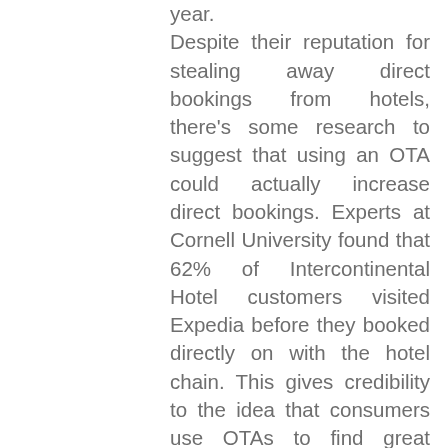year. Despite their reputation for stealing away direct bookings from hotels, there's some research to suggest that using an OTA could actually increase direct bookings. Experts at Cornell University found that 62% of Intercontinental Hotel customers visited Expedia before they booked directly on with the hotel chain. This gives credibility to the idea that consumers use OTAs to find great deals, then end up booking on brand websites using their own hotel reservation software anyway. For more information about positioning OTAs and GDS at